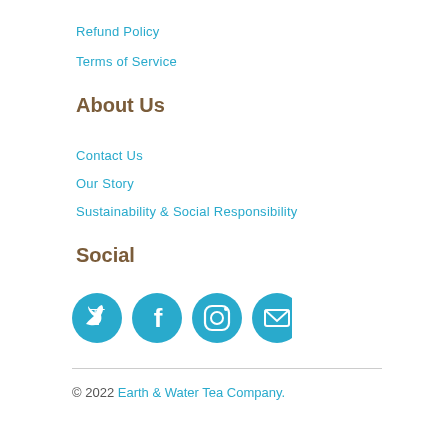Refund Policy
Terms of Service
About Us
Contact Us
Our Story
Sustainability & Social Responsibility
Social
[Figure (illustration): Four teal circular social media icons: Twitter, Facebook, Instagram, Email]
© 2022 Earth & Water Tea Company.